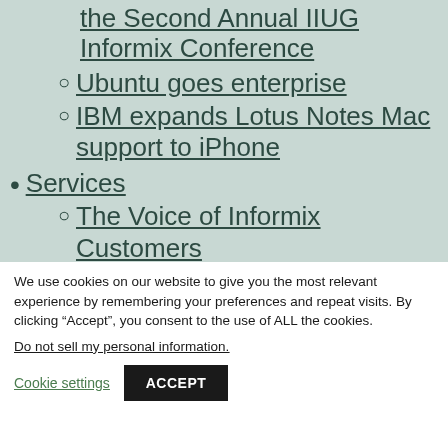the Second Annual IIUG Informix Conference
Ubuntu goes enterprise
IBM expands Lotus Notes Mac support to iPhone
Services
The Voice of Informix Customers
We use cookies on our website to give you the most relevant experience by remembering your preferences and repeat visits. By clicking “Accept”, you consent to the use of ALL the cookies.
Do not sell my personal information.
Cookie settings  ACCEPT